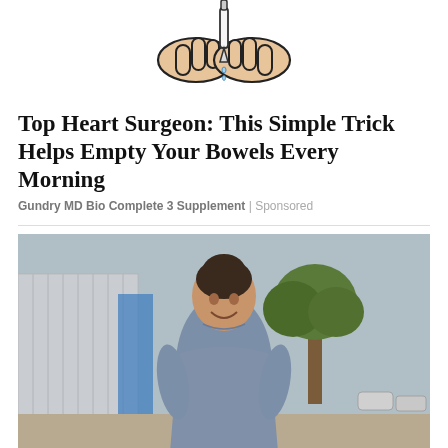[Figure (illustration): Illustration of hands holding a medical device or surgical tool, drawn in cartoon/comic style with skin-toned hands]
Top Heart Surgeon: This Simple Trick Helps Empty Your Bowels Every Morning
Gundry MD Bio Complete 3 Supplement | Sponsored
[Figure (photo): Photo of a smiling young woman with dark hair up in a bun, wearing a fitted grey/blue dress, standing outdoors on a sidewalk with a tree and building in the background]
Just Released: Dental Implants Are Now